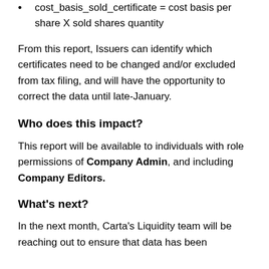cost_basis_sold_certificate = cost basis per share X sold shares quantity
From this report, Issuers can identify which certificates need to be changed and/or excluded from tax filing, and will have the opportunity to correct the data until late-January.
Who does this impact?
This report will be available to individuals with role permissions of Company Admin, and including Company Editors.
What's next?
In the next month, Carta's Liquidity team will be reaching out to ensure that data has been